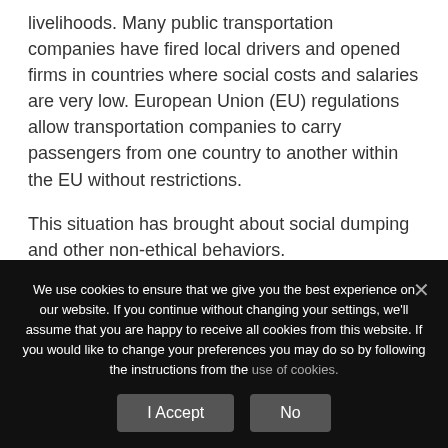livelihoods. Many public transportation companies have fired local drivers and opened firms in countries where social costs and salaries are very low. European Union (EU) regulations allow transportation companies to carry passengers from one country to another within the EU without restrictions.
This situation has brought about social dumping and other non-ethical behaviors.
Therefore, the EU addressed the problem and began
We use cookies to ensure that we give you the best experience on our website. If you continue without changing your settings, we'll assume that you are happy to receive all cookies from this website. If you would like to change your preferences you may do so by following the instructions from the use of cookies.